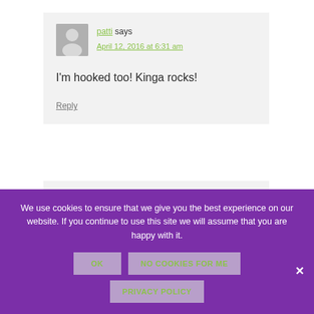patti says April 12, 2016 at 6:31 am
I'm hooked too! Kinga rocks!
Reply
We use cookies to ensure that we give you the best experience on our website. If you continue to use this site we will assume that you are happy with it.
OK
NO COOKIES FOR ME
PRIVACY POLICY